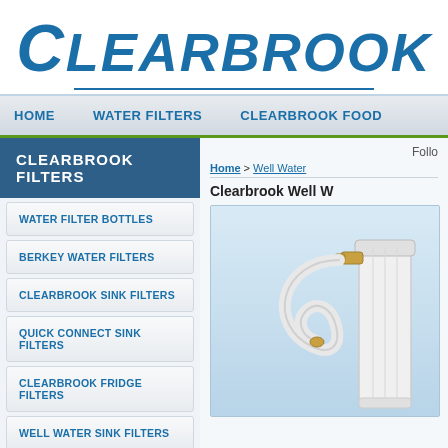CLEARBROOK
HOME   WATER FILTERS   CLEARBROOK FOOD
CLEARBROOK FILTERS
Follo
Home > Well Water
Clearbrook Well W
WATER FILTER BOTTLES
BERKEY WATER FILTERS
CLEARBROOK SINK FILTERS
QUICK CONNECT SINK FILTERS
CLEARBROOK FRIDGE FILTERS
WELL WATER SINK FILTERS
[Figure (photo): Photo of a Clearbrook well water sink filter with white housing and hose attachment with gold fittings, on a light blue gradient background]